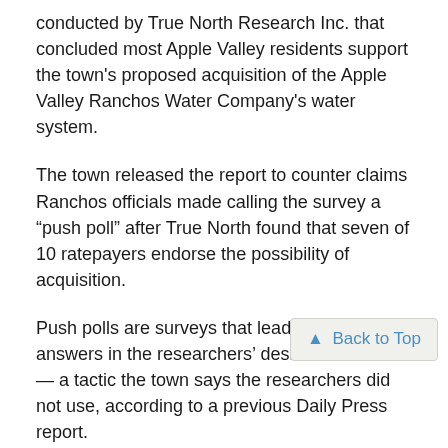conducted by True North Research Inc. that concluded most Apple Valley residents support the town's proposed acquisition of the Apple Valley Ranchos Water Company's water system.
The town released the report to counter claims Ranchos officials made calling the survey a “push poll” after True North found that seven of 10 ratepayers endorse the possibility of acquisition.
Push polls are surveys that leads respondents’ answers in the researchers’ desired direction — a tactic the town says the researchers did not use, according to a previous Daily Press report.
Town council members authorized the release of the report in a show of transparency so people can see for themselves exactly what was asked and how many people were asked, according to Town Spokeswoman Kathie